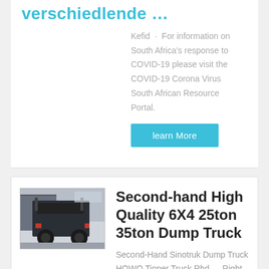verschiedlende ...
Kefid · For information on South Africa's response to COVID-19 please visit the COVID-19 Corona Virus South African Resource Portal.
learn More
[Figure (photo): Rear view of a heavy truck/tractor unit parked on a lot]
Second-hand High Quality 6X4 25ton 35ton Dump Truck
Second-Hand Sinotruk Dump Truck HOWO Tipper Truck Rhd … Right Hand Drive RHD Howo 4x2 small cargo truck low price for sale in